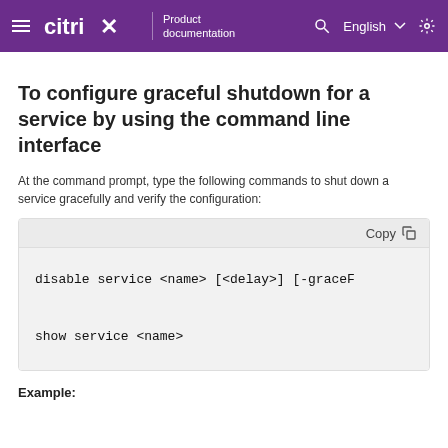Citrix Product documentation | English
To configure graceful shutdown for a service by using the command line interface
At the command prompt, type the following commands to shut down a service gracefully and verify the configuration:
disable service <name> [<delay>] [-graceF...
show service <name>
Example: